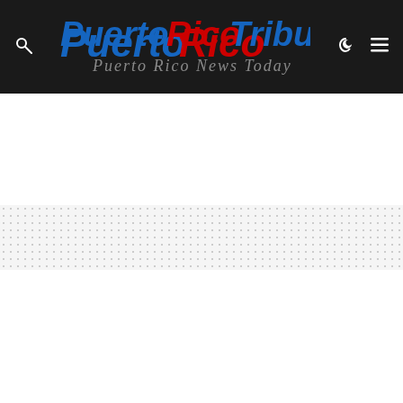Puerto Rico Tribune — Puerto Rico News Today
SHOW COMMENTS (0)